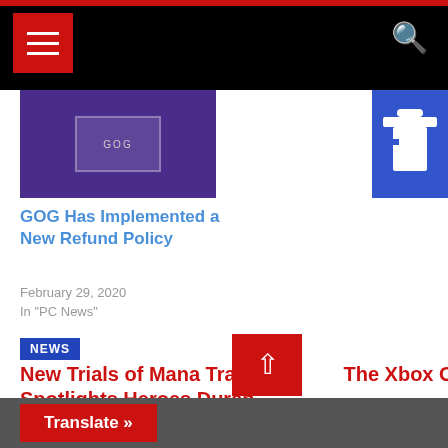Navigation bar with menu and search
[Figure (screenshot): Partially visible thumbnail images: left image shows purple/violet background with a white UI element (GOG related), right image shows blue background with white t-shirt/onesie icon]
GOG Has Implemented a New Refund Policy
February 29, 2020
In "PC News"
NEWS
New Trials of Mana Trailer Spotlights Heroes Duran and Angela
The Xbox Onesie is Coming
Translate »